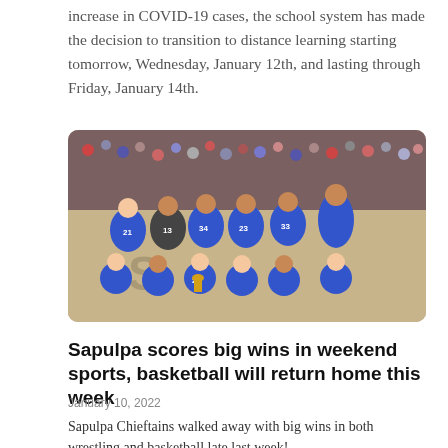increase in COVID-19 cases, the school system has made the decision to transition to distance learning starting tomorrow, Wednesday, January 12th, and lasting through Friday, January 14th.
[Figure (photo): A girls basketball team in blue Sapulpa uniforms posing together for a group photo on a basketball court, with a crowd visible in the background.]
Sapulpa scores big wins in weekend sports, basketball will return home this week
January 10, 2022
Sapulpa Chieftains walked away with big wins in both wrestling and basketball late last week!